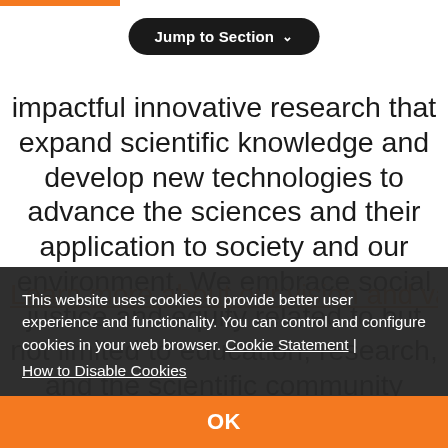Jump to Section
impactful innovative research that expand scientific knowledge and develop new technologies to advance the sciences and their application to society and our environment. We embrace social justice and equity related to but not limited to education, research, and the scientific community at large.
Learn more about our vision and values |—
This website uses cookies to provide better user experience and functionality. You can control and configure cookies in your web browser. Cookie Statement | How to Disable Cookies
OK